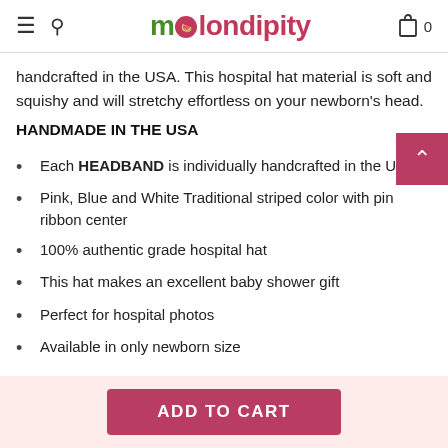melondipity
handcrafted in the USA. This hospital hat material is soft and squishy and will stretchy effortless on your newborn's head.
HANDMADE IN THE USA
Each HEADBAND is individually handcrafted in the USA
Pink, Blue and White Traditional striped color with pink ribbon center
100% authentic grade hospital hat
This hat makes an excellent baby shower gift
Perfect for hospital photos
Available in only newborn size
ADD TO CART